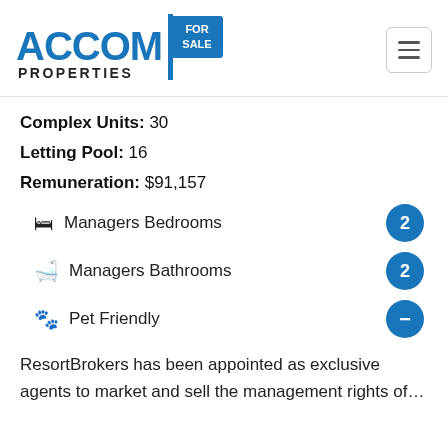[Figure (logo): ACCOM PROPERTIES logo with a 'FOR SALE' sign icon in blue]
Complex Units: 30
Letting Pool: 16
Remuneration: $91,157
Managers Bedrooms   2
Managers Bathrooms   2
Pet Friendly   -
ResortBrokers has been appointed as exclusive agents to market and sell the management rights of...